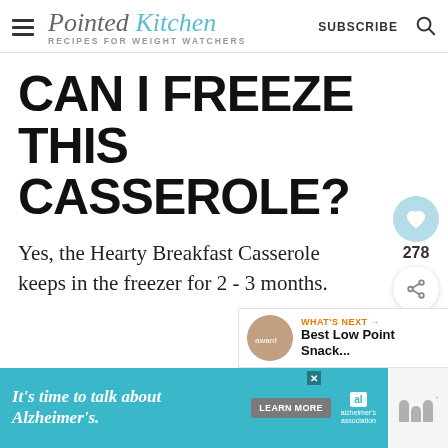Pointed Kitchen — RECIPES FOR WEIGHT WATCHERS — SUBSCRIBE
CAN I FREEZE THIS CASSEROLE?
Yes, the Hearty Breakfast Casserole keeps in the freezer for 2 - 3 months.
[Figure (other): Heart/save button with count 278 and share button]
[Figure (other): What's Next panel with thumbnail and title 'Best Low Point Snack...']
[Figure (other): Advertisement banner: It's time to talk about Alzheimer's. Learn More button. Alzheimer's Association logo.]